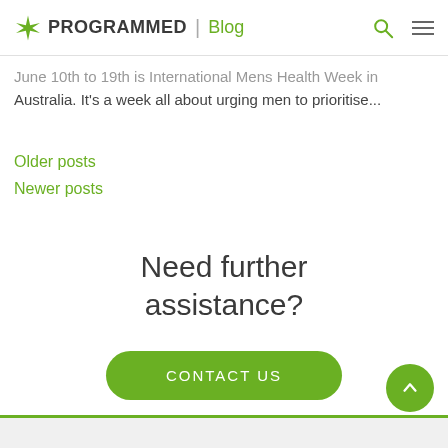PROGRAMMED | Blog
June 10th to 19th is International Mens Health Week in Australia. It's a week all about urging men to prioritise...
Older posts
Newer posts
Need further assistance?
CONTACT US